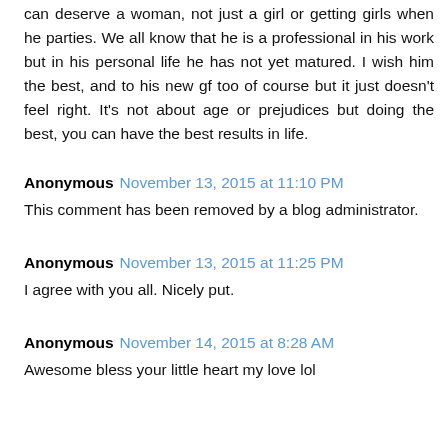can deserve a woman, not just a girl or getting girls when he parties. We all know that he is a professional in his work but in his personal life he has not yet matured. I wish him the best, and to his new gf too of course but it just doesn't feel right. It's not about age or prejudices but doing the best, you can have the best results in life.
Anonymous November 13, 2015 at 11:10 PM
This comment has been removed by a blog administrator.
Anonymous November 13, 2015 at 11:25 PM
I agree with you all. Nicely put.
Anonymous November 14, 2015 at 8:28 AM
Awesome bless your little heart my love lol